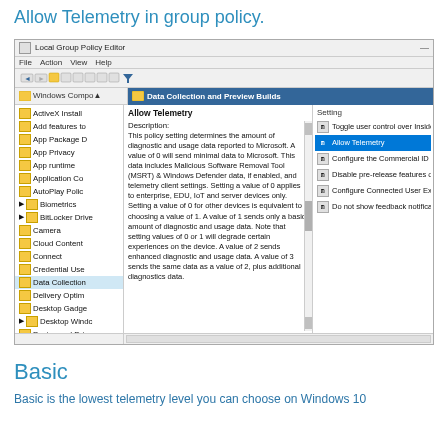Allow Telemetry in group policy.
[Figure (screenshot): Local Group Policy Editor screenshot showing Data Collection and Preview Builds section with Allow Telemetry selected. Left pane shows Windows Components tree. Middle pane shows Allow Telemetry description. Right pane lists settings including Toggle user control over Insider builds, Allow Telemetry (highlighted), Configure the Commercial ID, Disable pre-release features or settings, Configure Connected User Experiences and Telemetry, Do not show feedback notifications.]
Basic
Basic is the lowest telemetry level you can choose on Windows 10